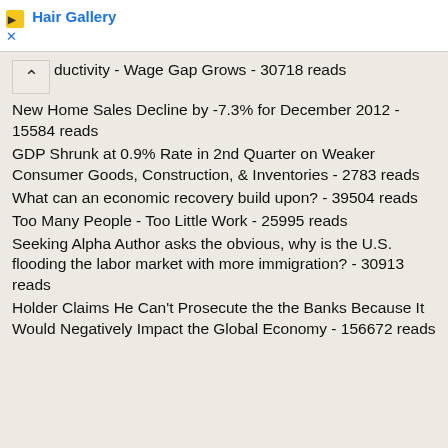[Figure (other): Advertisement banner for Hair Gallery with logo icon, blue text, and close button]
...ductivity - Wage Gap Grows - 30718 reads
New Home Sales Decline by -7.3% for December 2012 - 15584 reads
GDP Shrunk at 0.9% Rate in 2nd Quarter on Weaker Consumer Goods, Construction, & Inventories - 2783 reads
What can an economic recovery build upon? - 39504 reads
Too Many People - Too Little Work - 25995 reads
Seeking Alpha Author asks the obvious, why is the U.S. flooding the labor market with more immigration? - 30913 reads
Holder Claims He Can't Prosecute the the Banks Because It Would Negatively Impact the Global Economy - 156672 reads